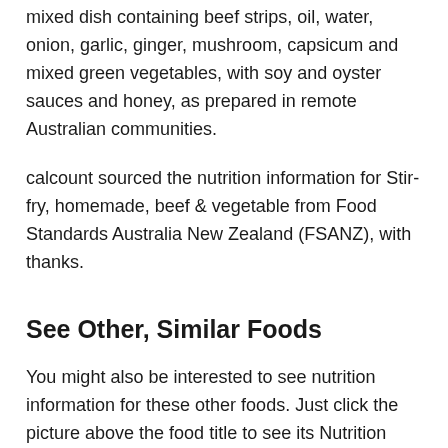mixed dish containing beef strips, oil, water, onion, garlic, ginger, mushroom, capsicum and mixed green vegetables, with soy and oyster sauces and honey, as prepared in remote Australian communities.
calcount sourced the nutrition information for Stir-fry, homemade, beef & vegetable from Food Standards Australia New Zealand (FSANZ), with thanks.
See Other, Similar Foods
You might also be interested to see nutrition information for these other foods. Just click the picture above the food title to see its Nutrition Facts panel and calorie